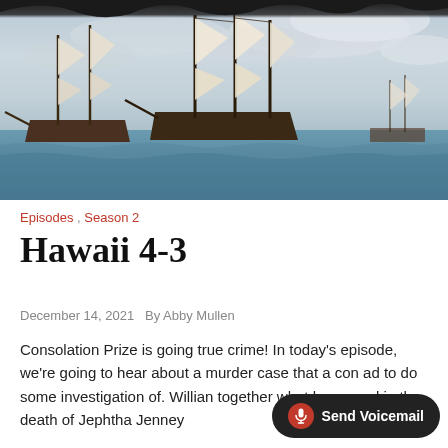[Figure (illustration): A painting of tall sailing ships at sea with cloudy sky, dark torn-edge overlay at top.]
Episodes , Season 2
Hawaii 4-3
December 14, 2021   By Abby Mullen
Consolation Prize is going true crime! In today's episode, we're going to hear about a murder case that a con had to do some investigation of. Willian together what happened in the death of Jephtha Jenney